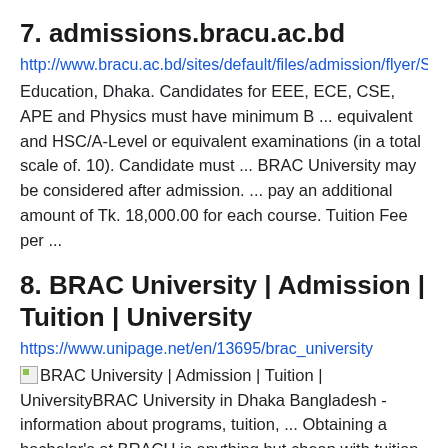7. admissions.bracu.ac.bd
http://www.bracu.ac.bd/sites/default/files/admission/flyer/S Education, Dhaka. Candidates for EEE, ECE, CSE, APE and Physics must have minimum B ... equivalent and HSC/A-Level or equivalent examinations (in a total scale of. 10). Candidate must ... BRAC University may be considered after admission. ... pay an additional amount of Tk. 18,000.00 for each course. Tuition Fee per ...
8. BRAC University | Admission | Tuition | University
https://www.unipage.net/en/13695/brac_university
BRAC University | Admission | Tuition | UniversityBRAC University in Dhaka Bangladesh - information about programs, tuition, ... Obtaining a bachelor's at BRACU is anything but cheap with tuition fees of ...
9. Undergraduate Programs | Brac